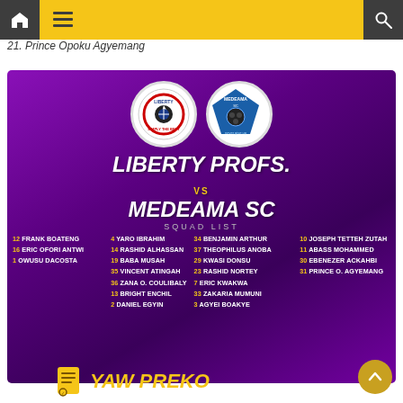21. Prince Opoku Agyemang
[Figure (infographic): Liberty Profs. vs Medeama SC squad list infographic with team logos, player names and numbers on purple background]
YAW PREKO